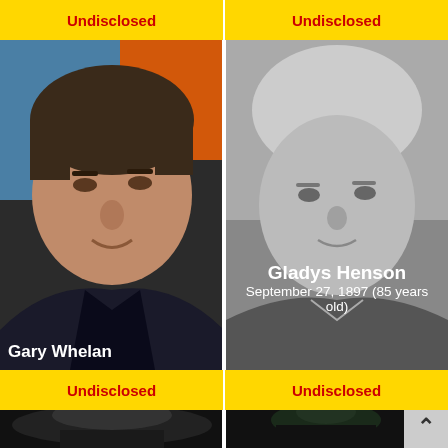[Figure (photo): Top-left card: yellow banner with 'Undisclosed' text in red]
[Figure (photo): Top-right card: yellow banner with 'Undisclosed' text in red]
[Figure (photo): Middle-left card: photo of Gary Whelan, a middle-aged man with dark hair, colorful background; name overlay at bottom]
Gary Whelan
[Figure (photo): Middle-right card: black-and-white photo of Gladys Henson, elderly woman; name and date overlay]
Gladys Henson
September 27, 1897 (85 years old)
[Figure (photo): Bottom-left yellow banner: Undisclosed]
[Figure (photo): Bottom-right yellow banner: Undisclosed]
[Figure (photo): Bottom-left partial photo: black and white image, figure with hat]
[Figure (photo): Bottom-right partial photo: black and white image, dark figure]